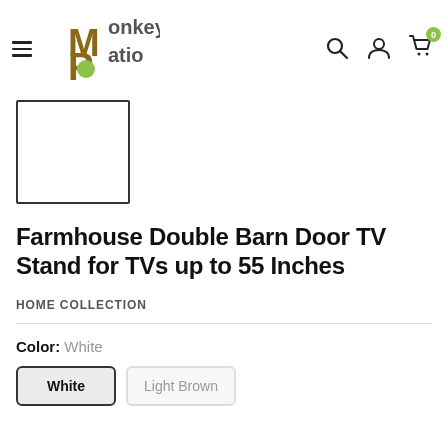Monkey Patio — navigation header with hamburger menu, logo, search, account, and cart icons
[Figure (photo): Small product thumbnail image placeholder (white square with border)]
Farmhouse Double Barn Door TV Stand for TVs up to 55 Inches
HOME COLLECTION
Color: White
White | Light Brown